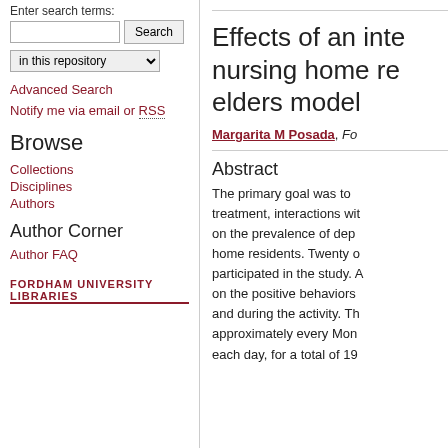Enter search terms:
Search | in this repository
Advanced Search
Notify me via email or RSS
Browse
Collections
Disciplines
Authors
Author Corner
Author FAQ
[Figure (logo): Fordham University Libraries logo text]
Effects of an inte... nursing home re... elders model
Margarita M Posada, Fo...
Abstract
The primary goal was to... treatment, interactions wit... on the prevalence of dep... home residents. Twenty c... participated in the study. ... on the positive behaviors ... and during the activity. Th... approximately every Mon... each day, for a total of 19...